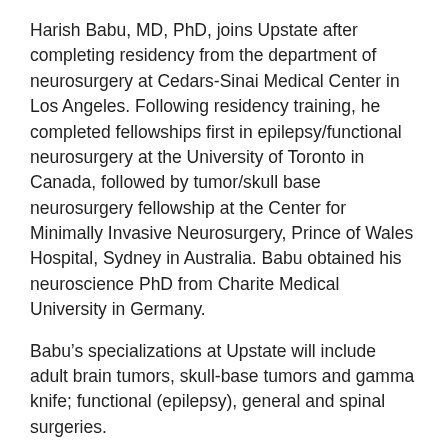Harish Babu, MD, PhD, joins Upstate after completing residency from the department of neurosurgery at Cedars-Sinai Medical Center in Los Angeles. Following residency training, he completed fellowships first in epilepsy/functional neurosurgery at the University of Toronto in Canada, followed by tumor/skull base neurosurgery fellowship at the Center for Minimally Invasive Neurosurgery, Prince of Wales Hospital, Sydney in Australia. Babu obtained his neuroscience PhD from Charite Medical University in Germany.
Babu's specializations at Upstate will include adult brain tumors, skull-base tumors and gamma knife; functional (epilepsy), general and spinal surgeries.
“He will be a great addition to the four other neurosurgeons operating on brain tumors  and increase our complement of two other functional neurosurgeons to three,” Krishnamurthy said.
Ali Hazama, MD, has been a resident in the department of neurosurgery at Upstate since 2012. Hazama is a